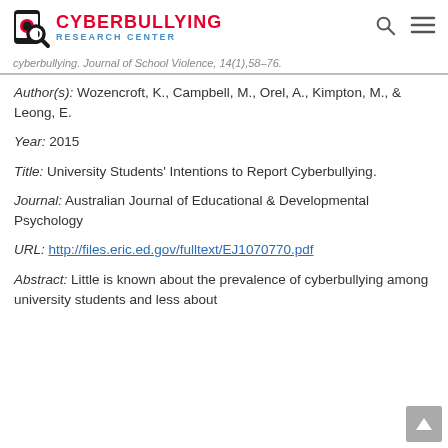Cyberbullying Research Center
cyberbullying. Journal of School Violence, 14(1), 58–76.
Author(s): Wozencroft, K., Campbell, M., Orel, A., Kimpton, M., & Leong, E.
Year: 2015
Title: University Students' Intentions to Report Cyberbullying.
Journal: Australian Journal of Educational & Developmental Psychology
URL: http://files.eric.ed.gov/fulltext/EJ1070770.pdf
Abstract: Little is known about the prevalence of cyberbullying among university students and less about